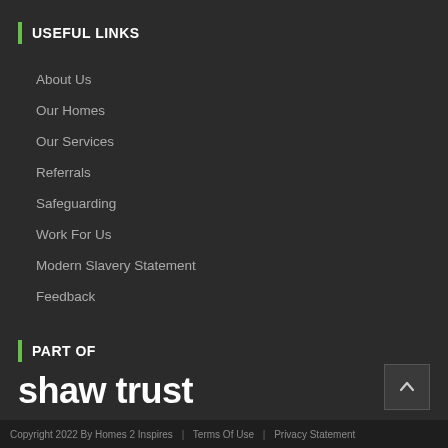USEFUL LINKS
About Us
Our Homes
Our Services
Referrals
Safeguarding
Work For Us
Modern Slavery Statement
Feedback
PART OF
shaw trust
Copyright 2022 By Homes 2 Inspires  |  Terms Of Use  |  Privacy Statement